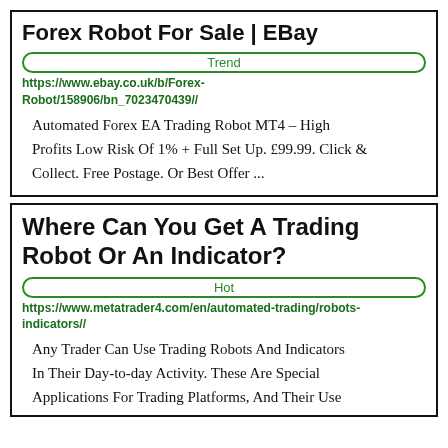Forex Robot For Sale | EBay
Trend
https://www.ebay.co.uk/b/Forex-Robot/158906/bn_7023470439//
Automated Forex EA Trading Robot MT4 – High Profits Low Risk Of 1% + Full Set Up. £99.99. Click & Collect. Free Postage. Or Best Offer ...
Where Can You Get A Trading Robot Or An Indicator?
Hot
https://www.metatrader4.com/en/automated-trading/robots-indicators//
Any Trader Can Use Trading Robots And Indicators In Their Day-to-day Activity. These Are Special Applications For Trading Platforms, And Their Use